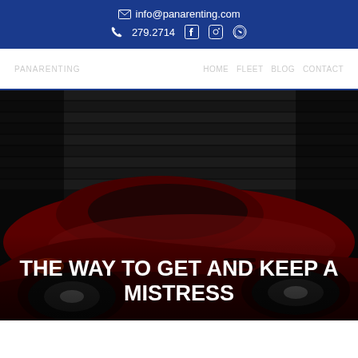info@panarenting.com  279.2714
[Figure (photo): A dark red Ferrari sports car parked in front of a dark garage with roller shutters, dimly lit dramatic scene]
THE WAY TO GET AND KEEP A MISTRESS